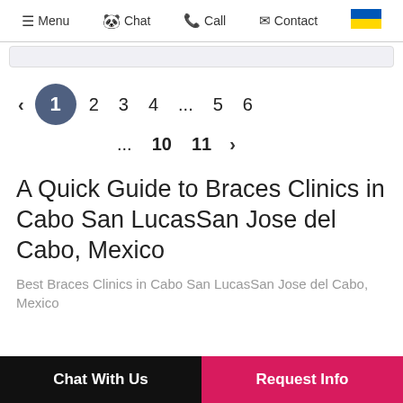≡ Menu  🐼 Chat  📞 Call  ✉ Contact  🇺🇦
[Figure (other): Pagination navigation: < 1(active) 2 3 4 ... 5 6 / ... 10 11 >]
A Quick Guide to Braces Clinics in Cabo San LucasSan Jose del Cabo, Mexico
Best Braces Clinics in Cabo San LucasSan Jose del Cabo, Mexico
Chat With Us | Request Info